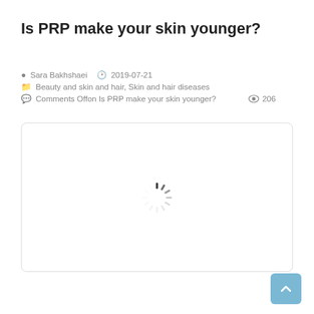Is PRP make your skin younger?
Sara Bakhshaei   2019-07-21
Beauty and skin and hair, Skin and hair diseases
Comments Offon Is PRP make your skin younger?   206
[Figure (other): Loading spinner / placeholder image box with rounded border]